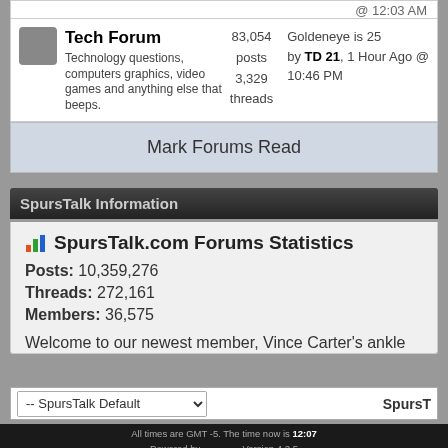@ 12:03 AM
| Icon | Forum | Stats | Last Post |
| --- | --- | --- | --- |
| [icon] | Tech Forum
Technology questions, computers graphics, video games and anything else that beeps. | 83,054 posts
3,329 threads | Goldeneye is 25
by TD 21, 1 Hour Ago @ 10:46 PM |
Mark Forums Read
SpursTalk Information
SpursTalk.com Forums Statistics
Posts: 10,359,276
Threads: 272,161
Members: 36,575
Welcome to our newest member, Vince Carter's ankle
-- SpursTalk Default   SpursT
All times are GMT -5. The time now is 12:07
Powered by   Version 4.2.5
Copyright © 2022 vBulletin Solutions Inc. All rights
Live threads provided by AJAX Threads v1.1.1 (Pro)- vBulletin Mods & Addons Cop
Copyright ©2003-2020 SpursTalk.com
Digital Point modules: